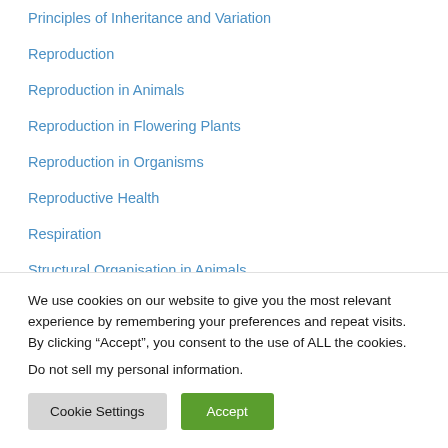Principles of Inheritance and Variation
Reproduction
Reproduction in Animals
Reproduction in Flowering Plants
Reproduction in Organisms
Reproductive Health
Respiration
Structural Organisation in Animals
Transport in Plants
We use cookies on our website to give you the most relevant experience by remembering your preferences and repeat visits. By clicking “Accept”, you consent to the use of ALL the cookies.
Do not sell my personal information.
Cookie Settings
Accept